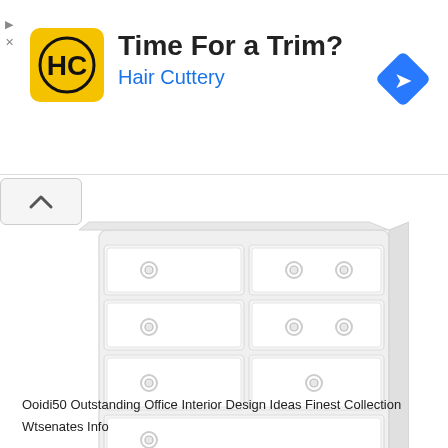[Figure (screenshot): Advertisement banner for Hair Cuttery with yellow HC logo, title 'Time For a Trim?', subtitle 'Hair Cuttery' in blue, and a blue navigation/directions icon on the right.]
[Figure (illustration): A white chest of drawers / dresser with multiple drawers and circular drawer pulls, shown in a near-white monochromatic illustration style.]
Ooidi50 Outstanding Office Interior Design Ideas Finest Collection
Wtsenates Info